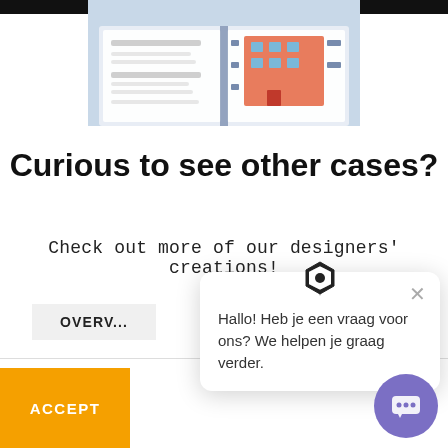[Figure (photo): Open illustrated book/brochure showing a colorful building cross-section with people]
Curious to see other cases?
Check out more of our designers' creations!
OVERVIE...
Hallo! Heb je een vraag voor ons? We helpen je graag verder.
ACCEPT